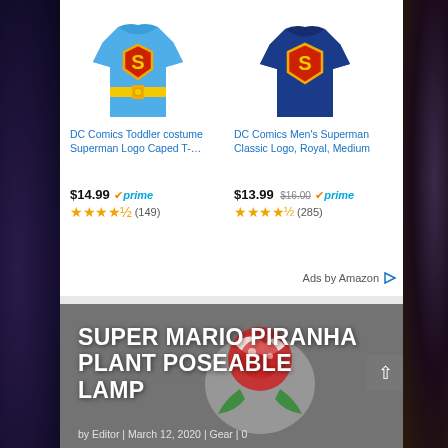[Figure (screenshot): Amazon product listing for DC Comics Toddler costume Superman Logo Caped T-shirt with blue Superman shirt image]
DC Comics Toddler costume Superman Logo Caped T-...
$14.99 ✓prime ★★★★☆ (149)
[Figure (photo): DC Comics Men's Superman Classic Logo Royal Blue t-shirt]
DC Comics Men's Superman Classic Logo, Royal, Medium
$13.99 $16.00 ✓prime ★★★★☆ (285)
Ads by Amazon ▷
[Figure (photo): Super Mario Piranha Plant Poseable Lamp product image with red and white plant lamp on grey background]
SUPER MARIO PIRANHA PLANT POSEABLE LAMP
by Editor | March 12, 2020 | Gear | 0